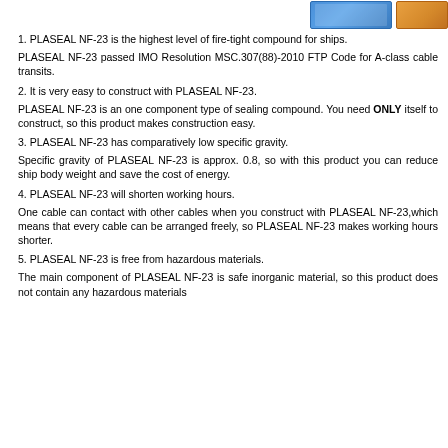[Figure (photo): Product images of PLASEAL NF-23 packaging in blue box and orange container, shown in upper right corner]
1. PLASEAL NF-23 is the highest level of fire-tight compound for ships.
PLASEAL NF-23 passed IMO Resolution MSC.307(88)-2010 FTP Code for A-class cable transits.
2. It is very easy to construct with PLASEAL NF-23.
PLASEAL NF-23 is an one component type of sealing compound. You need ONLY itself to construct, so this product makes construction easy.
3. PLASEAL NF-23 has comparatively low specific gravity.
Specific gravity of PLASEAL NF-23 is approx. 0.8, so with this product you can reduce ship body weight and save the cost of energy.
4. PLASEAL NF-23 will shorten working hours.
One cable can contact with other cables when you construct with PLASEAL NF-23,which means that every cable can be arranged freely, so PLASEAL NF-23 makes working hours shorter.
5. PLASEAL NF-23 is free from hazardous materials.
The main component of PLASEAL NF-23 is safe inorganic material, so this product does not contain any hazardous materials